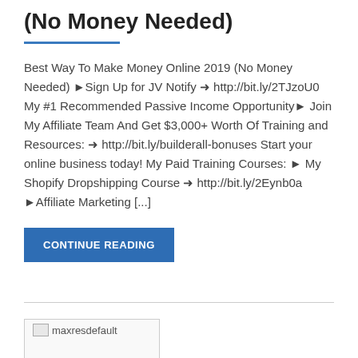(No Money Needed)
Best Way To Make Money Online 2019 (No Money Needed) ►Sign Up for JV Notify ➜ http://bit.ly/2TJzoU0 My #1 Recommended Passive Income Opportunity► Join My Affiliate Team And Get $3,000+ Worth Of Training and Resources: ➜ http://bit.ly/builderall-bonuses Start your online business today! My Paid Training Courses: ► My Shopify Dropshipping Course ➜ http://bit.ly/2Eynb0a ►Affiliate Marketing [...]
CONTINUE READING
[Figure (photo): Thumbnail image placeholder labeled maxresdefault]